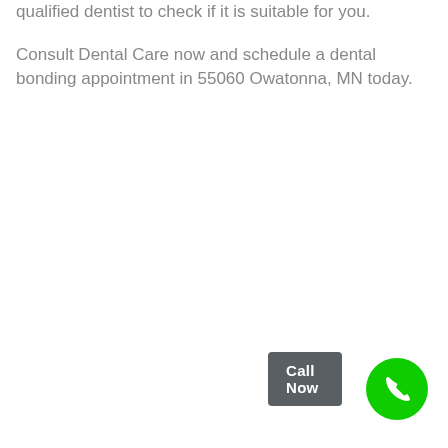qualified dentist to check if it is suitable for you.
Consult Dental Care now and schedule a dental bonding appointment in 55060 Owatonna, MN today.
[Figure (other): Call Now button (dark grey rounded rectangle) and green circular phone icon button in the bottom right corner]